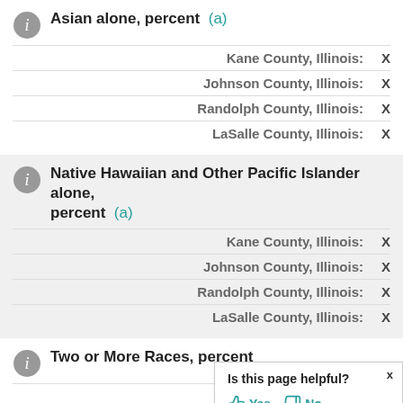Asian alone, percent (a)
| Location | Value |
| --- | --- |
| Kane County, Illinois: | X |
| Johnson County, Illinois: | X |
| Randolph County, Illinois: | X |
| LaSalle County, Illinois: | X |
Native Hawaiian and Other Pacific Islander alone, percent (a)
| Location | Value |
| --- | --- |
| Kane County, Illinois: | X |
| Johnson County, Illinois: | X |
| Randolph County, Illinois: | X |
| LaSalle County, Illinois: | X |
Two or More Races, percent
| Location | Value |
| --- | --- |
| Kane County, Illinois: |  |
| Johnson County, Illinois: |  |